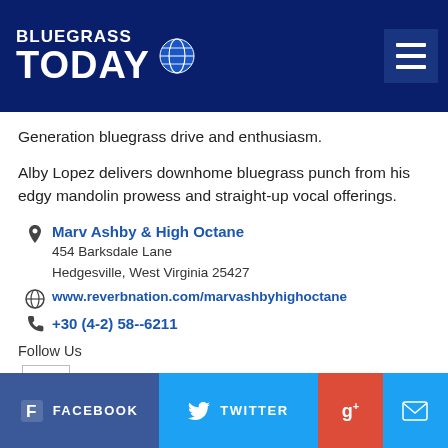Bluegrass Today
Generation bluegrass drive and enthusiasm.
Alby Lopez delivers downhome bluegrass punch from his edgy mandolin prowess and straight-up vocal offerings.
Marv Ashby & High Octane
454 Barksdale Lane
Hedgesville, West Virginia 25427
www.reverbnation.com/marvashbyhighoctane
+30 (4-2) 58--6211
Follow Us
FACEBOOK  TWITTER